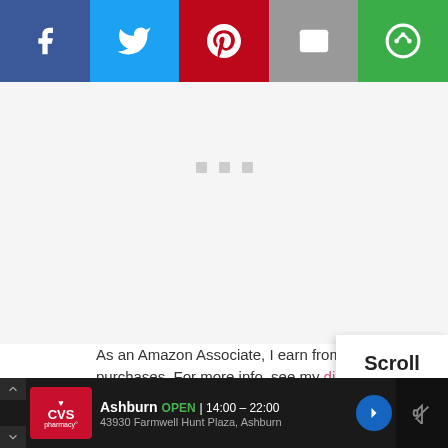[Figure (other): Social share bar with 5 buttons: Facebook (blue), Twitter (light blue), Pinterest (red), Email (grey), More/share (green)]
[Figure (other): White/light grey content area with three small grey dots/squares indicating loading or pagination]
As an Amazon Associate, I earn from qualifying purchases. For more info, see my disclosure.
[Figure (other): Scroll to top button overlay showing text 'Scroll to top']
[Figure (other): Bottom advertisement bar for CVS Pharmacy in Ashburn: OPEN 14:00-22:00, 43930 Farmwell Hunt Plaza, Ashburn]